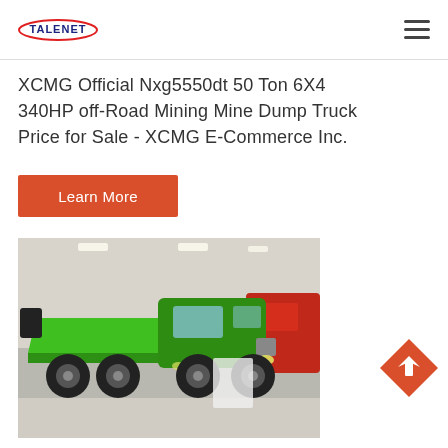TALENET
XCMG Official Nxg5550dt 50 Ton 6X4 340HP off-Road Mining Mine Dump Truck Price for Sale - XCMG E-Commerce Inc.
Learn More
[Figure (photo): Green XCMG dump truck displayed in an exhibition hall, with red vehicles visible in the background.]